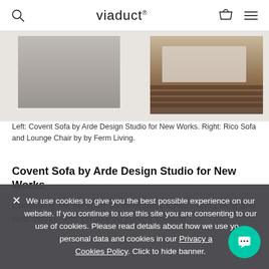viaduct
[Figure (photo): Two product photos side by side: left shows the Covent Sofa by Arde Design Studio for New Works; right shows the Rico Sofa and Lounge Chair by Ferm Living, on a dark wooden slatted surface.]
Left: Covent Sofa by Arde Design Studio for New Works. Right: Rico Sofa and Lounge Chair by by Ferm Living.
Covent Sofa by Arde Design Studio for New Works
Continuing the trend for softer organic forms Ferm Living and New Works both introduced curved sofas to
We use cookies to give you the best possible experience on our website. If you continue to use this site you are consenting to our use of cookies. Please read details about how we use your personal data and cookies in our Privacy and Cookies Policy. Click to hide banner.